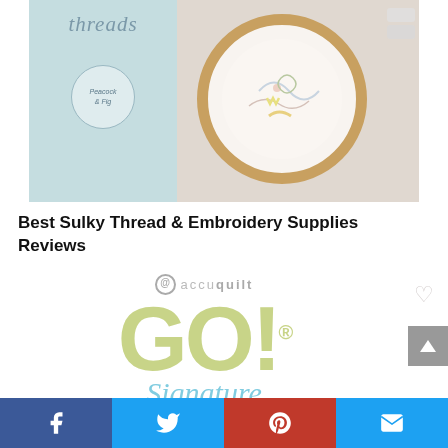[Figure (photo): Book cover titled 'threads' with embroidery hoop photo on a website listing]
Best Sulky Thread & Embroidery Supplies Reviews
[Figure (logo): AccuQuilt GO! Signature logo in olive green and light blue]
[Figure (other): Social media sharing bar with Facebook, Twitter, Pinterest, and Email buttons]